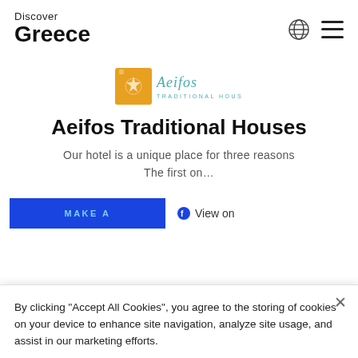Discover Greece
[Figure (logo): Aeifos Traditional Houses logo — orange square with decorative sun/leaf motif and 'Aeifos Traditional Houses' text in teal cursive]
Aeifos Traditional Houses
Our hotel is a unique place for three reasons The first on...
MAKE A
View on
By clicking “Accept All Cookies”, you agree to the storing of cookies on your device to enhance site navigation, analyze site usage, and assist in our marketing efforts.